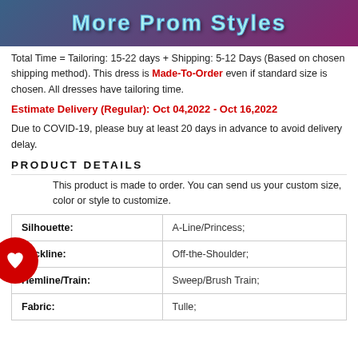[Figure (photo): Banner image with text 'More Prom Styles' with decorative font, showing fashion/prom dress imagery in background]
Total Time = Tailoring: 15-22 days + Shipping: 5-12 Days (Based on chosen shipping method). This dress is Made-To-Order even if standard size is chosen. All dresses have tailoring time.
Estimate Delivery (Regular): Oct 04,2022 - Oct 16,2022
Due to COVID-19, please buy at least 20 days in advance to avoid delivery delay.
PRODUCT DETAILS
This product is made to order. You can send us your custom size, color or style to customize.
| Attribute | Value |
| --- | --- |
| Silhouette: | A-Line/Princess; |
| Neckline: | Off-the-Shoulder; |
| Hemline/Train: | Sweep/Brush Train; |
| Fabric: | Tulle; |